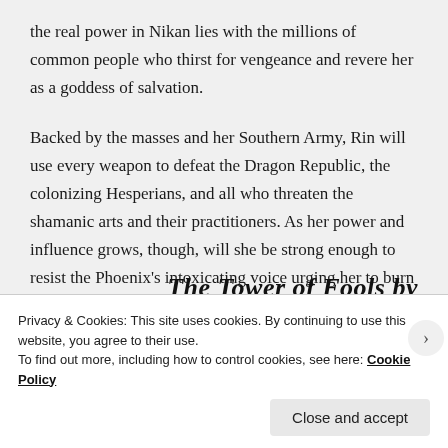the real power in Nikan lies with the millions of common people who thirst for vengeance and revere her as a goddess of salvation.
Backed by the masses and her Southern Army, Rin will use every weapon to defeat the Dragon Republic, the colonizing Hesperians, and all who threaten the shamanic arts and their practitioners. As her power and influence grows, though, will she be strong enough to resist the Phoenix’s intoxicating voice urging her to burn the world and everything in it?
The Tower of Fools by
Privacy & Cookies: This site uses cookies. By continuing to use this website, you agree to their use.
To find out more, including how to control cookies, see here: Cookie Policy